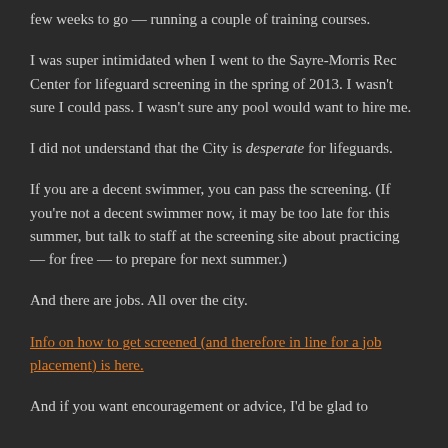few weeks to go — running a couple of training courses.
I was super intimidated when I went to the Sayre-Morris Rec Center for lifeguard screening in the spring of 2013. I wasn't sure I could pass. I wasn't sure any pool would want to hire me.
I did not understand that the City is desperate for lifeguards.
If you are a decent swimmer, you can pass the screening. (If you're not a decent swimmer now, it may be too late for this summer, but talk to staff at the screening site about practicing — for free — to prepare for next summer.)
And there are jobs. All over the city.
Info on how to get screened (and therefore in line for a job placement) is here.
And if you want encouragement or advice, I'd be glad to